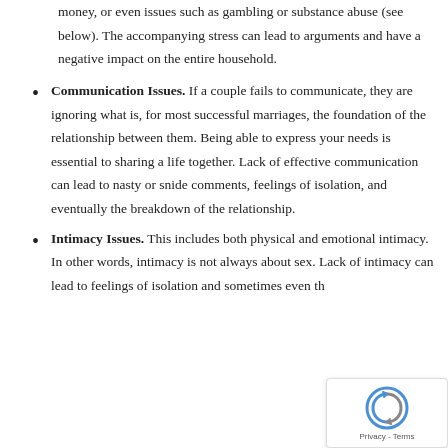money, or even issues such as gambling or substance abuse (see below). The accompanying stress can lead to arguments and have a negative impact on the entire household.
Communication Issues. If a couple fails to communicate, they are ignoring what is, for most successful marriages, the foundation of the relationship between them. Being able to express your needs is essential to sharing a life together. Lack of effective communication can lead to nasty or snide comments, feelings of isolation, and eventually the breakdown of the relationship.
Intimacy Issues. This includes both physical and emotional intimacy. In other words, intimacy is not always about sex. Lack of intimacy can lead to feelings of isolation and sometimes even the...